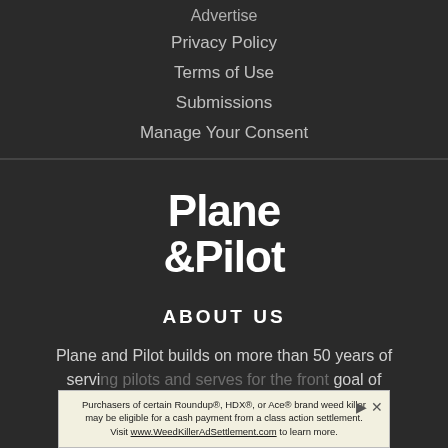Advertise
Privacy Policy
Terms of Use
Submissions
Manage Your Consent
[Figure (logo): Plane &Pilot logo in white bold text on dark background]
ABOUT US
Plane and Pilot builds on more than 50 years of serving pilots and serves for the front line goal of empowering knowledge
[Figure (other): Advertisement banner: Purchasers of certain Roundup, HDX, or Ace brand weed killer may be eligible for a cash payment from a class action settlement. Visit www.WeedKillerAdSettlement.com to learn more.]